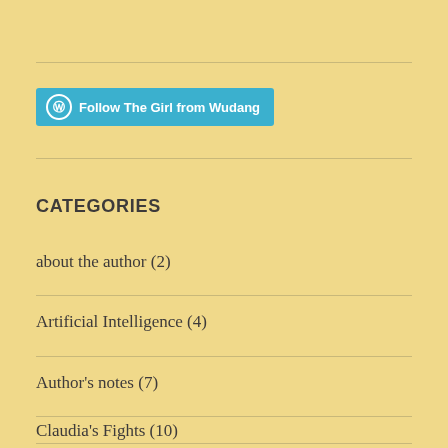[Figure (other): WordPress Follow button — 'Follow The Girl from Wudang' in teal/cyan color with WordPress circular logo icon]
CATEGORIES
about the author (2)
Artificial Intelligence (4)
Author's notes (7)
Claudia's Fights (10)